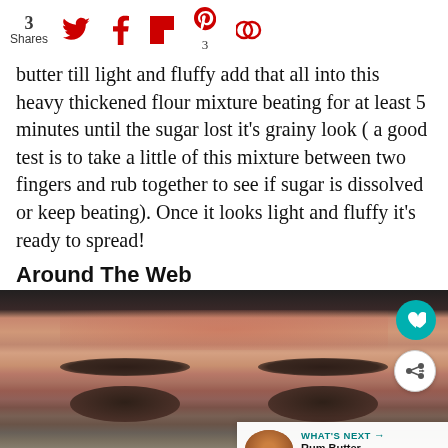3 Shares — social share icons: Twitter, Facebook, Flipboard, Pinterest (3), Circles
butter till light and fluffy add that all into this heavy thickened flour mixture beating for at least 5 minutes until the sugar lost it's grainy look ( a good test is to take a little of this mixture between two fingers and rub together to see if sugar is dissolved or keep beating). Once it looks light and fluffy it's ready to spread!
Around The Web
[Figure (photo): Close-up photo of a man's face showing forehead, eyebrows and eyes. Overlaid UI elements: heart favorite button (teal circle), share button (white circle), and 'WHAT'S NEXT → Rum Butter Banana Pec...' panel in lower right.]